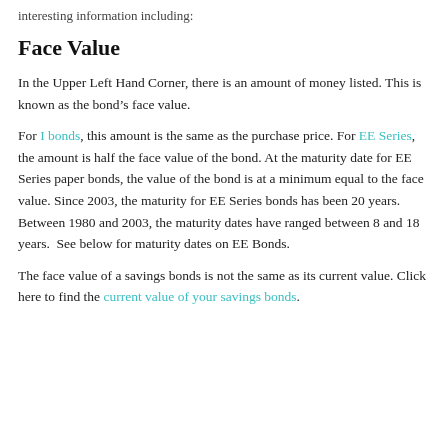interesting information including:
Face Value
In the Upper Left Hand Corner, there is an amount of money listed. This is known as the bond’s face value.
For I bonds, this amount is the same as the purchase price. For EE Series, the amount is half the face value of the bond. At the maturity date for EE Series paper bonds, the value of the bond is at a minimum equal to the face value. Since 2003, the maturity for EE Series bonds has been 20 years. Between 1980 and 2003, the maturity dates have ranged between 8 and 18 years. See below for maturity dates on EE Bonds.
The face value of a savings bonds is not the same as its current value. Click here to find the current value of your savings bonds.